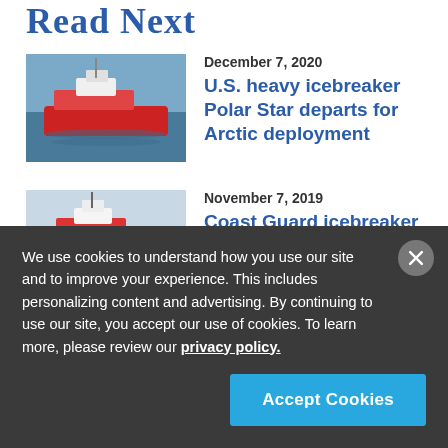Read Next
December 7, 2020 — U.S. heavy icebreaker Polar Star departs for Arctic deployment
November 7, 2019 — Coast Guard icebreaker returns home following 90-day Arctic deployment
June 12, 2018 — Russia, China expanding Arctic...
We use cookies to understand how you use our site and to improve your experience. This includes personalizing content and advertising. By continuing to use our site, you accept our use of cookies. To learn more, please review our privacy policy.
Accept Cookies